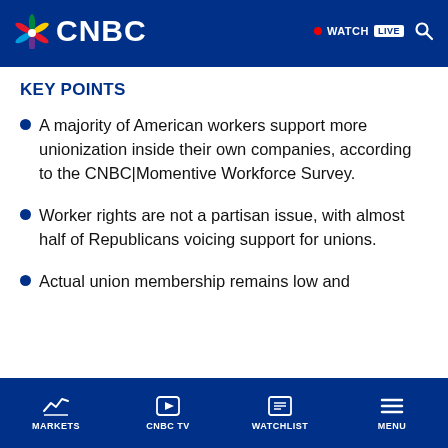CNBC — WATCH LIVE
KEY POINTS
A majority of American workers support more unionization inside their own companies, according to the CNBC|Momentive Workforce Survey.
Worker rights are not a partisan issue, with almost half of Republicans voicing support for unions.
Actual union membership remains low and
MARKETS   CNBC TV   WATCHLIST   MENU